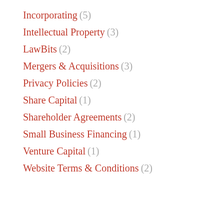Incorporating (5)
Intellectual Property (3)
LawBits (2)
Mergers & Acquisitions (3)
Privacy Policies (2)
Share Capital (1)
Shareholder Agreements (2)
Small Business Financing (1)
Venture Capital (1)
Website Terms & Conditions (2)